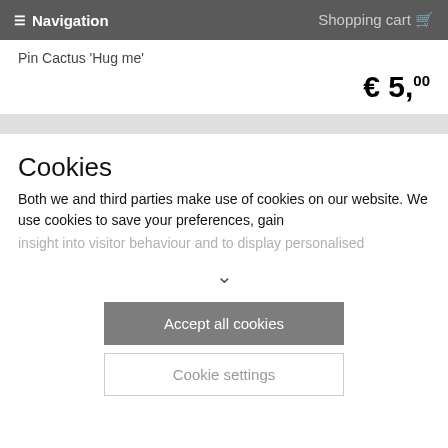Navigation  Shopping cart
Pin Cactus 'Hug me'
€ 5,00
Cookies
Both we and third parties make use of cookies on our website. We use cookies to save your preferences, gain insight into visitor behaviour and to display personalised
Accept all cookies
Cookie settings